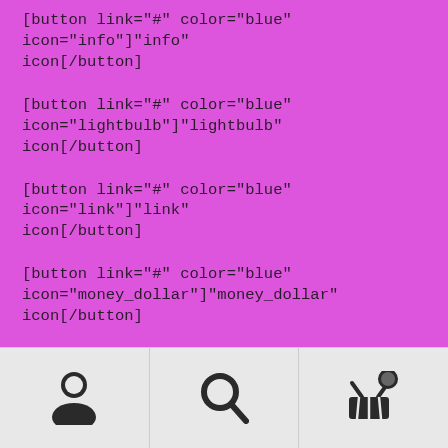[button link="#" color="blue" icon="info"]"info" icon[/button]
[button link="#" color="blue" icon="lightbulb"]"lightbulb" icon[/button]
[button link="#" color="blue" icon="link"]"link" icon[/button]
[button link="#" color="blue" icon="money_dollar"]"money_dollar" icon[/button]
[button link="#" color="blue" icon="money_euro"]"money_euro" icon[/button]
[button link="#" color="blue"
[Figure (other): Bottom navigation bar with three icons: person/user icon on the left, magnifying glass/search icon in the center, and a shopping basket with a notification badge on the right. Set against a light gray background.]